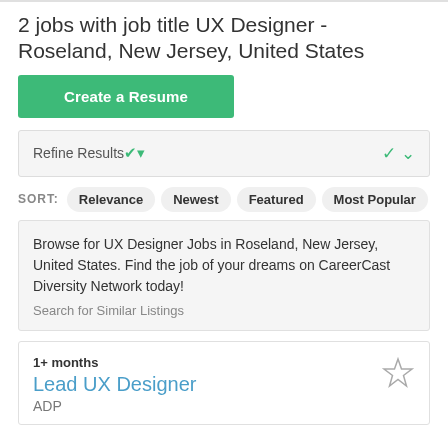2 jobs with job title UX Designer - Roseland, New Jersey, United States
Create a Resume
Refine Results
SORT: Relevance  Newest  Featured  Most Popular
Browse for UX Designer Jobs in Roseland, New Jersey, United States. Find the job of your dreams on CareerCast Diversity Network today!
Search for Similar Listings
1+ months
Lead UX Designer
ADP